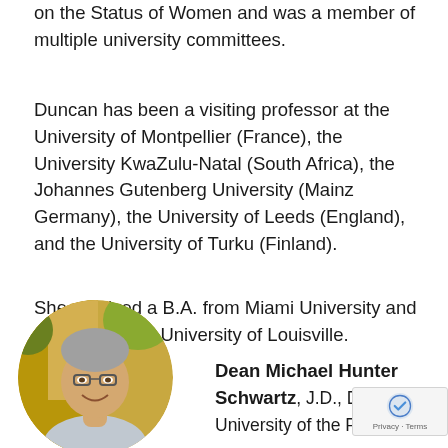on the Status of Women and was a member of multiple university committees.
Duncan has been a visiting professor at the University of Montpellier (France), the University KwaZulu-Natal (South Africa), the Johannes Gutenberg University (Mainz Germany), the University of Leeds (England), and the University of Turku (Finland).
She received a B.A. from Miami University and a J.D. from the University of Louisville.
[Figure (photo): Circular portrait photo of Dean Michael Hunter Schwartz, a middle-aged man with glasses, smiling, outdoors with blurred autumnal background.]
Dean Michael Hunter Schwartz, J.D., Dean, University of the Pacifi...